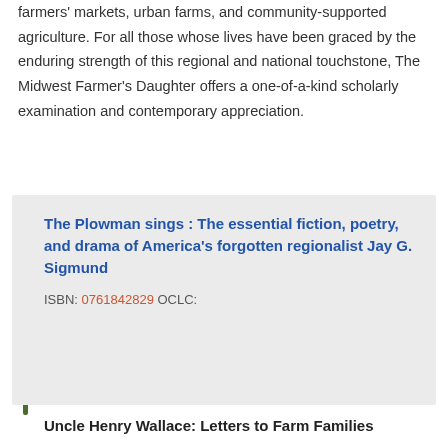farmers' markets, urban farms, and community-supported agriculture. For all those whose lives have been graced by the enduring strength of this regional and national touchstone, The Midwest Farmer's Daughter offers a one-of-a-kind scholarly examination and contemporary appreciation.
The Plowman sings : The essential fiction, poetry, and drama of America's forgotten regionalist Jay G. Sigmund
ISBN: 0761842829 OCLC:
Uncle Henry Wallace: Letters to Farm Families
ISBN: 1557534934 OCLC: